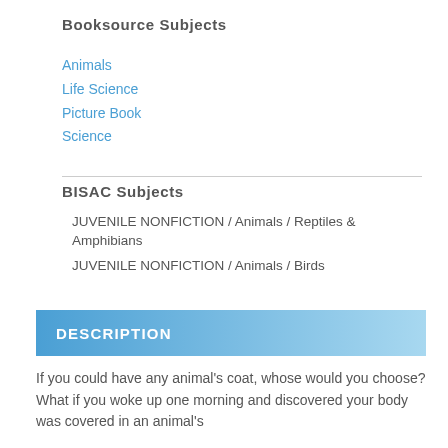Booksource Subjects
Animals
Life Science
Picture Book
Science
BISAC Subjects
JUVENILE NONFICTION / Animals / Reptiles & Amphibians
JUVENILE NONFICTION / Animals / Birds
DESCRIPTION
If you could have any animal's coat, whose would you choose? What if you woke up one morning and discovered your body was covered in an animal's coat, feathers, or features, before you went to